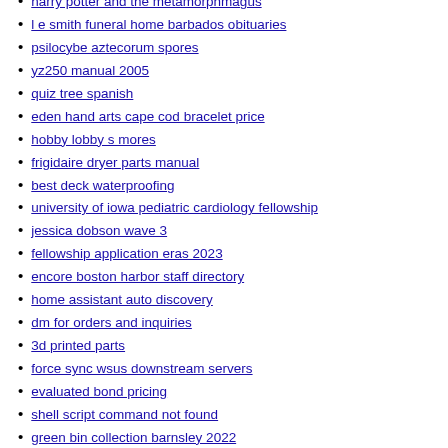harry potter and the metamorphmagus
l e smith funeral home barbados obituaries
psilocybe aztecorum spores
yz250 manual 2005
quiz tree spanish
eden hand arts cape cod bracelet price
hobby lobby s mores
frigidaire dryer parts manual
best deck waterproofing
university of iowa pediatric cardiology fellowship
jessica dobson wave 3
fellowship application eras 2023
encore boston harbor staff directory
home assistant auto discovery
dm for orders and inquiries
3d printed parts
force sync wsus downstream servers
evaluated bond pricing
shell script command not found
green bin collection barnsley 2022
left stove on all night cost
zillow rentals harahan la
can salmon oil cause diarrhea in dogs
sony x81ch 85
lake ocoee cabin rentals
tacoma secondary air pump delete